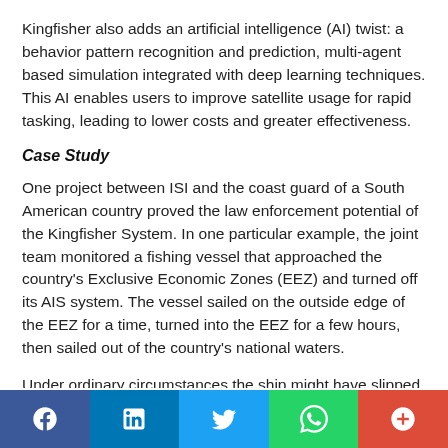Kingfisher also adds an artificial intelligence (AI) twist: a behavior pattern recognition and prediction, multi-agent based simulation integrated with deep learning techniques. This AI enables users to improve satellite usage for rapid tasking, leading to lower costs and greater effectiveness.
Case Study
One project between ISI and the coast guard of a South American country proved the law enforcement potential of the Kingfisher System. In one particular example, the joint team monitored a fishing vessel that approached the country's Exclusive Economic Zones (EEZ) and turned off its AIS system. The vessel sailed on the outside edge of the EEZ for a time, turned into the EEZ for a few hours, then sailed out of the country's national waters.
Under ordinary circumstances the ship might have slipped away. But Kingfisher's predictive behavior algorithm
[Figure (other): Social media sharing bar with Facebook, LinkedIn, Twitter, WhatsApp, and Google+ buttons]